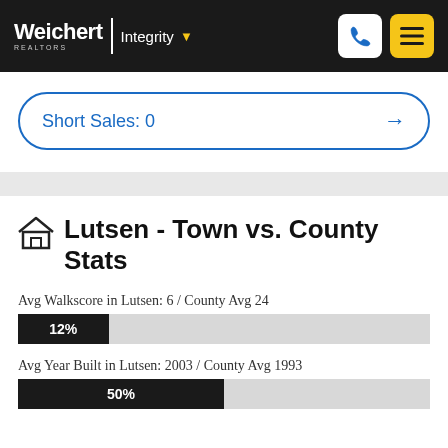Weichert | Integrity
Short Sales: 0
Lutsen - Town vs. County Stats
Avg Walkscore in Lutsen: 6 / County Avg 24
[Figure (bar-chart): Walkscore comparison]
Avg Year Built in Lutsen: 2003 / County Avg 1993
[Figure (bar-chart): Year Built comparison]